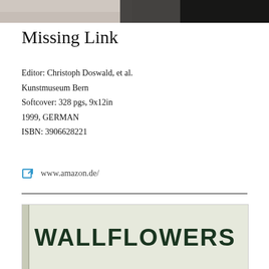[Figure (photo): Partial photograph at top of page showing indistinct figures or textures in muted tones]
Missing Link
Editor: Christoph Doswald, et al.
Kunstmuseum Bern
Softcover: 328 pgs, 9x12in
1999, GERMAN
ISBN: 3906628221
www.amazon.de/
[Figure (photo): Book cover of 'WALLFLOWERS' — landscape-oriented hardcover with light olive/cream background and large dark green bold uppercase text reading WALLFLOWERS centered on the cover]